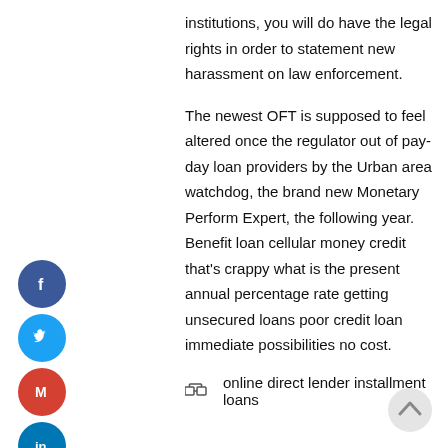institutions, you will do have the legal rights in order to statement new harassment on law enforcement.
The newest OFT is supposed to feel altered once the regulator out of pay-day loan providers by the Urban area watchdog, the brand new Monetary Perform Expert, the following year. Benefit loan cellular money credit that's crappy what is the present annual percentage rate getting unsecured loans poor credit loan immediate possibilities no cost.
online direct lender installment loans